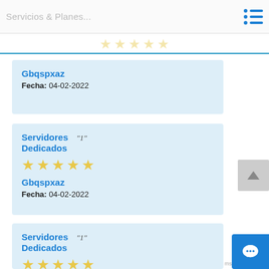Servicios & Planes...
★ ★ ★ ★ ★ (5 stars outline row)
Gbqspxaz
Fecha: 04-02-2022
Servidores "1" Dedicados
★★★★★
Gbqspxaz
Fecha: 04-02-2022
Servidores "1" Dedicados
★★★★★
Gbqspxaz